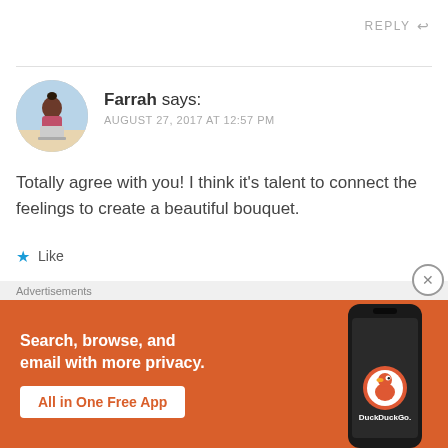REPLY ↩
Farrah says:
AUGUST 27, 2017 AT 12:57 PM
Totally agree with you! I think it's talent to connect the feelings to create a beautiful bouquet.
★ Like
Advertisements
[Figure (screenshot): DuckDuckGo advertisement banner with orange background showing phone and text: 'Search, browse, and email with more privacy. All in One Free App. DuckDuckGo.']